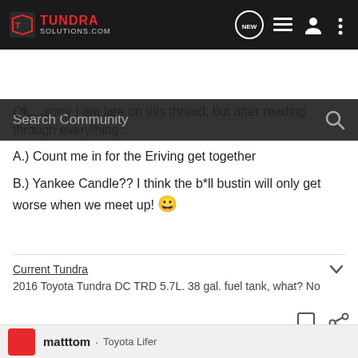TundraSolutions.com — Navigation bar with logo, NEW chat icon, list icon, user icon, more icon
Search Community
Ok....sorry I am late on this thread, but after reading through everything..

A.) Count me in for the Eriving get together

B.) Yankee Candle?? I think the b*ll bustin will only get worse when we meet up! 😀
Current Tundra
2016 Toyota Tundra DC TRD 5.7L. 38 gal. fuel tank, what? No
matttom · Toyota Lifer